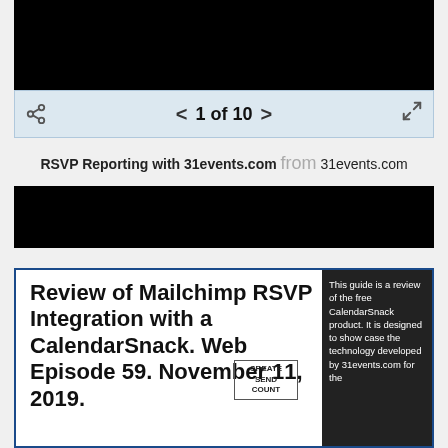[Figure (screenshot): Black video thumbnail area at top]
[Figure (screenshot): Navigation bar showing share icon, page 1 of 10 with arrows, and fullscreen icon on light blue background]
RSVP Reporting with 31events.com from 31events.com
[Figure (screenshot): Second black video/image area]
[Figure (screenshot): Slide card with title: Review of Mailchimp RSVP Integration with a CalendarSnack. Web Episode 59. November 11, 2019. With CREATE SEND COUNT button and dark sidebar text reading: This guide is a review of the free CalendarSnack product. It is designed to show case the technology developed by 31events.com for the]